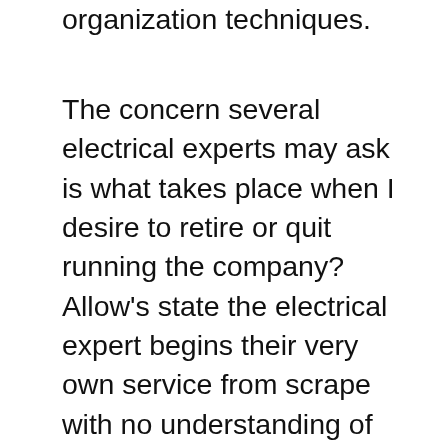organization techniques.
The concern several electrical experts may ask is what takes place when I desire to retire or quit running the company? Allow's state the electrical expert begins their very own service from scrape with no understanding of just how as well as what they desire to offer at the end of it. Just the individual running the organization is for sale, so there is absolutely nothing to offer other than a retiring electrical expert. Electricians examination, repair work as well as fit circuitry as well as circuits, as well as set up brand-new electric frameworks. Commonly operating in household houses, workplaces or public structures, electrical contractors make sure as well as any type of